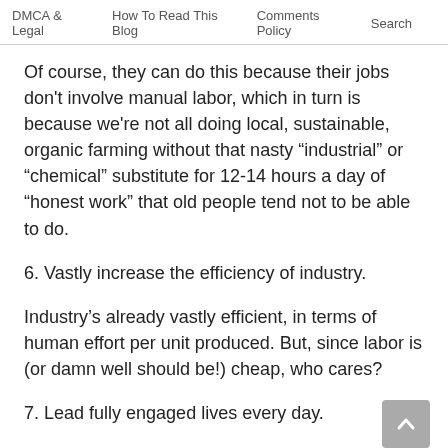DMCA & Legal   How To Read This Blog   Comments Policy   Search
Of course, they can do this because their jobs don't involve manual labor, which in turn is because we're not all doing local, sustainable, organic farming without that nasty “industrial” or “chemical” substitute for 12-14 hours a day of “honest work” that old people tend not to be able to do.
6. Vastly increase the efficiency of industry.
Industry’s already vastly efficient, in terms of human effort per unit produced. But, since labor is (or damn well should be!) cheap, who cares?
7. Lead fully engaged lives every day.
“We should attempt to enjoy what we have now as